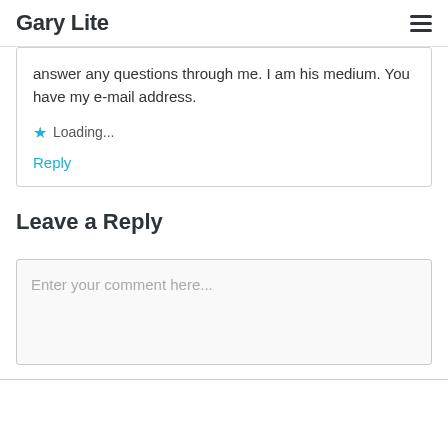Gary Lite
answer any questions through me. I am his medium. You have my e-mail address.
★ Loading...
Reply
Leave a Reply
Enter your comment here...